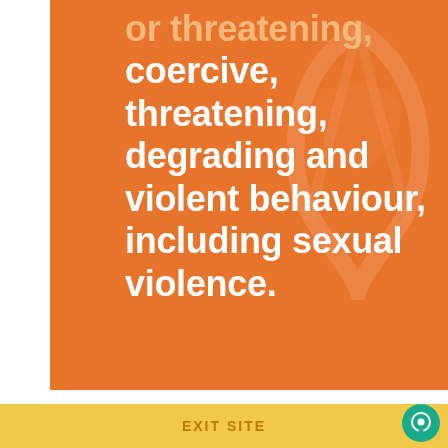[Figure (infographic): Orange background box with bold white text reading (partially visible at top): '...threatening, coercive, threatening, degrading and violent behaviour, including sexual violence.' with a decorative watermark/logo in the background.]
Perpetrators have poor emotional management and adverse behaviour.  Perpetrators often have poor empathy.  Abusive partners tend to be less aware of their internal state and have greater difficulty identifying their emotions. The t...
EXIT SITE